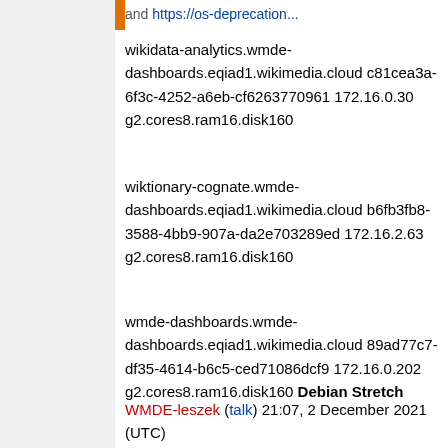and https://os-deprecation...
wikidata-analytics.wmde-dashboards.eqiad1.wikimedia.cloud c81cea3a-6f3c-4252-a6eb-cf6263770961 172.16.0.30 g2.cores8.ram16.disk160
wiktionary-cognate.wmde-dashboards.eqiad1.wikimedia.cloud b6fb3fb8-3588-4bb9-907a-da2e703289ed 172.16.2.63 g2.cores8.ram16.disk160
wmde-dashboards.wmde-dashboards.eqiad1.wikimedia.cloud 89ad77c7-df35-4614-b6c5-ced71086dcf9 172.16.0.202 g2.cores8.ram16.disk160 Debian Stretch
WMDE-leszek (talk) 21:07, 2 December 2021 (UTC)